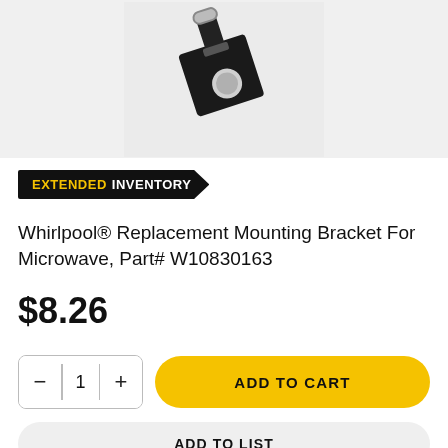[Figure (photo): Product photo of a Whirlpool replacement mounting bracket for microwave, showing a black metal bracket with a circular hole and a bolt/screw, on a light gray background.]
EXTENDED INVENTORY
Whirlpool® Replacement Mounting Bracket For Microwave, Part# W10830163
$8.26
ADD TO CART
ADD TO LIST